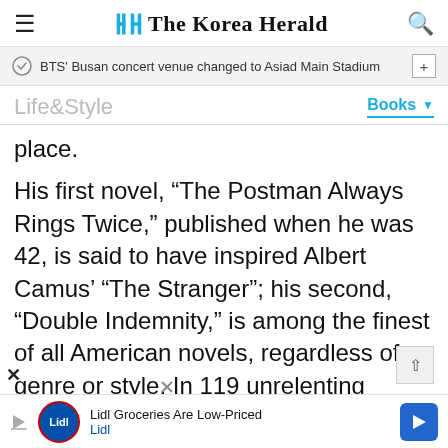The Korea Herald
BTS' Busan concert venue changed to Asiad Main Stadium
Life&Style
Books
place.
His first novel, “The Postman Always Rings Twice,” published when he was 42, is said to have inspired Albert Camus’ “The Stranger”; his second, “Double Indemnity,” is among the finest of all American novels, regardless of genre or style. In 119 unrelenting pages, Cain not only indicts middle-class greed and
Lidl Groceries Are Low-Priced
Lidl